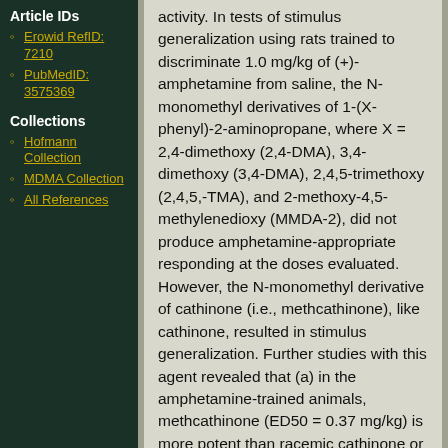Article IDs
Erowid RefID: 7210
PubMedID: 3575369
Collections
Hofmann Collection
MDMA Collection
All References
activity. In tests of stimulus generalization using rats trained to discriminate 1.0 mg/kg of (+)-amphetamine from saline, the N-monomethyl derivatives of 1-(X-phenyl)-2-aminopropane, where X = 2,4-dimethoxy (2,4-DMA), 3,4-dimethoxy (3,4-DMA), 2,4,5-trimethoxy (2,4,5,-TMA), and 2-methoxy-4,5-methylenedioxy (MMDA-2), did not produce amphetamine-appropriate responding at the doses evaluated. However, the N-monomethyl derivative of cathinone (i.e., methcathinone), like cathinone, resulted in stimulus generalization. Further studies with this agent revealed that (a) in the amphetamine-trained animals, methcathinone (ED50 = 0.37 mg/kg) is more potent than racemic cathinone or racemic amphetamine (ED50 = 0.71 mg/kg in both cases), (b) methcathinone is capable of inducing release of radioactivity from [3H]dopamine-prelabeled tissues from rat striatum, and